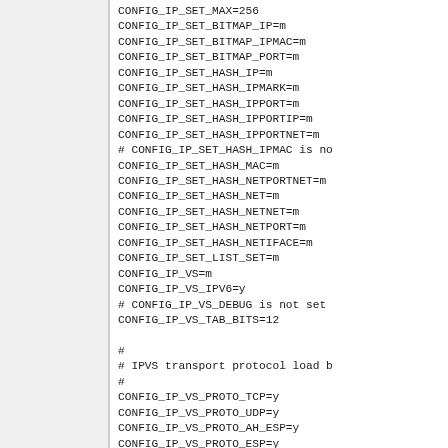CONFIG_IP_SET_MAX=256
CONFIG_IP_SET_BITMAP_IP=m
CONFIG_IP_SET_BITMAP_IPMAC=m
CONFIG_IP_SET_BITMAP_PORT=m
CONFIG_IP_SET_HASH_IP=m
CONFIG_IP_SET_HASH_IPMARK=m
CONFIG_IP_SET_HASH_IPPORT=m
CONFIG_IP_SET_HASH_IPPORTIP=m
CONFIG_IP_SET_HASH_IPPORTNET=m
# CONFIG_IP_SET_HASH_IPMAC is no
CONFIG_IP_SET_HASH_MAC=m
CONFIG_IP_SET_HASH_NETPORTNET=m
CONFIG_IP_SET_HASH_NET=m
CONFIG_IP_SET_HASH_NETNET=m
CONFIG_IP_SET_HASH_NETPORT=m
CONFIG_IP_SET_HASH_NETIFACE=m
CONFIG_IP_SET_LIST_SET=m
CONFIG_IP_VS=m
CONFIG_IP_VS_IPV6=y
# CONFIG_IP_VS_DEBUG is not set
CONFIG_IP_VS_TAB_BITS=12

#
# IPVS transport protocol load b
#
CONFIG_IP_VS_PROTO_TCP=y
CONFIG_IP_VS_PROTO_UDP=y
CONFIG_IP_VS_PROTO_AH_ESP=y
CONFIG_IP_VS_PROTO_ESP=y
CONFIG_IP_VS_PROTO_AH=y
CONFIG_IP_VS_PROTO_SCTP=y